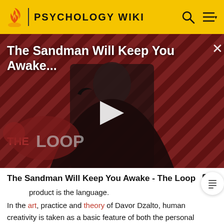PSYCHOLOGY WIKI
[Figure (screenshot): Video thumbnail for 'The Sandman Will Keep You Awake...' showing a cloaked figure against a red-and-black diagonal striped background with THE LOOP logo, and a play button in the center.]
The Sandman Will Keep You Awake - The Loop
product is the language.
In the art, practice and theory of Davor Dzalto, human creativity is taken as a basic feature of both the personal